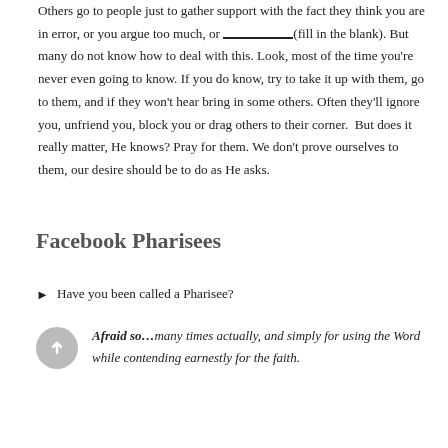Others go to people just to gather support with the fact they think you are in error, or you argue too much, or ___________(fill in the blank). But many do not know how to deal with this. Look, most of the time you're never even going to know. If you do know, try to take it up with them, go to them, and if they won't hear bring in some others. Often they'll ignore you, unfriend you, block you or drag others to their corner.  But does it really matter, He knows? Pray for them. We don't prove ourselves to them, our desire should be to do as He asks.
Facebook Pharisees
Have you been called a Pharisee?
Afraid so…many times actually, and simply for using the Word while contending earnestly for the faith.